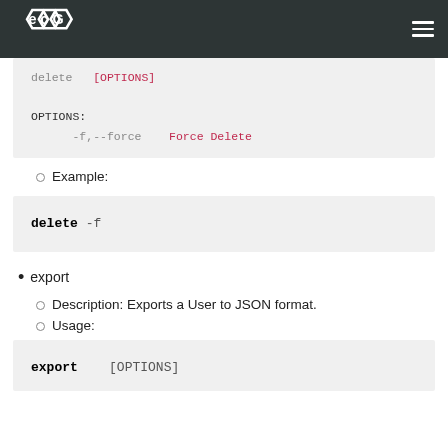ECG logo and navigation header
delete  [OPTIONS]
OPTIONS:
    -f,--force    Force Delete
Example:
delete -f
export
Description: Exports a User to JSON format.
Usage:
export  [OPTIONS]